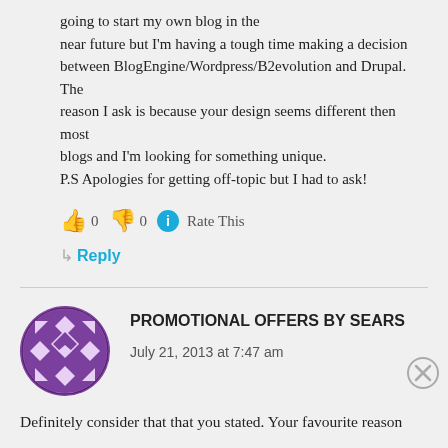going to start my own blog in the near future but I'm having a tough time making a decision between BlogEngine/Wordpress/B2evolution and Drupal. The reason I ask is because your design seems different then most blogs and I'm looking for something unique.
P.S Apologies for getting off-topic but I had to ask!
👍 0 👎 0 ℹ Rate This
↳ Reply
PROMOTIONAL OFFERS BY SEARS
July 21, 2013 at 7:47 am
Definitely consider that that you stated. Your favourite reason
Advertisements